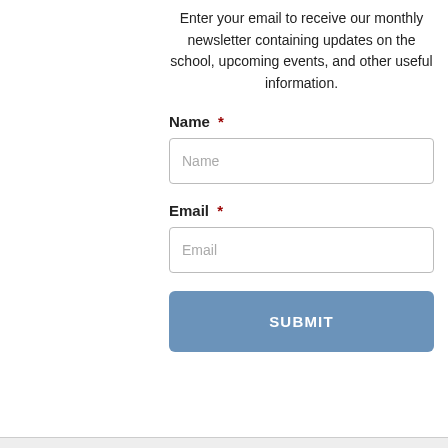Enter your email to receive our monthly newsletter containing updates on the school, upcoming events, and other useful information.
Name *
Email *
SUBMIT